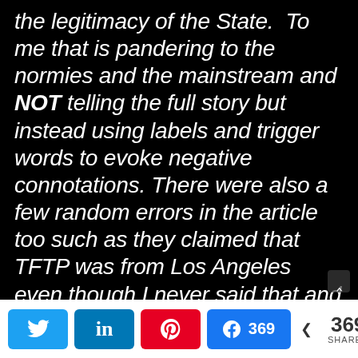the legitimacy of the State.  To me that is pandering to the normies and the mainstream and NOT telling the full story but instead using labels and trigger words to evoke negative connotations. There were also a few random errors in the article too such as they claimed that TFTP was from Los Angeles even though I never said that and even though I had a separate call with a "fact checker" from Rolling Stone that...